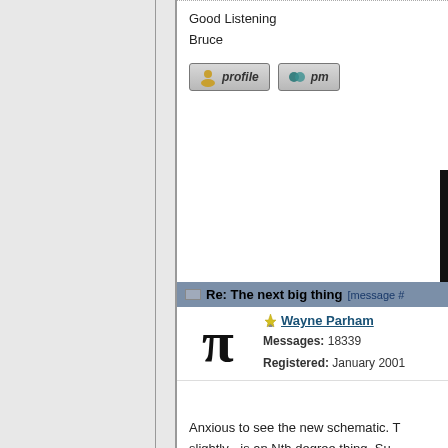Good Listening
Bruce
[Figure (screenshot): Forum profile and PM buttons]
Re: The next big thing [message #...]
Wayne Parham
Messages: 18339
Registered: January 2001
Anxious to see the new schematic. T... slightly - is an Nth degree thing. Su...